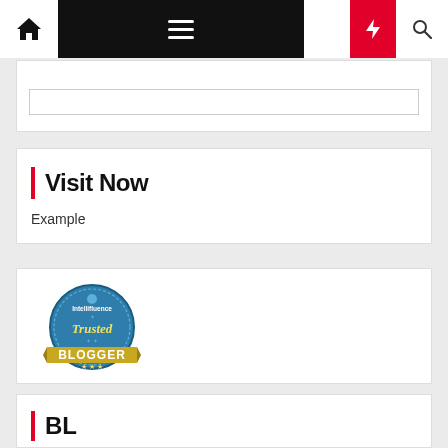Navigation bar with home, menu, moon, flash, and search icons
[Figure (screenshot): Search input box inside a white card]
Visit Now
Example
[Figure (logo): Intellifluence Trusted Blogger badge - blue circular badge with gold ribbon]
BL